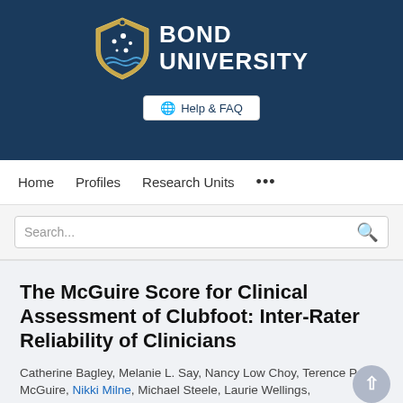[Figure (logo): Bond University logo with shield crest and university name in white text on dark navy background, with Help & FAQ button]
Home   Profiles   Research Units   ...
Search...
The McGuire Score for Clinical Assessment of Clubfoot: Inter-Rater Reliability of Clinicians
Catherine Bagley, Melanie L. Say, Nancy Low Choy, Terence P McGuire, Nikki Milne, Michael Steele, Laurie Wellings,